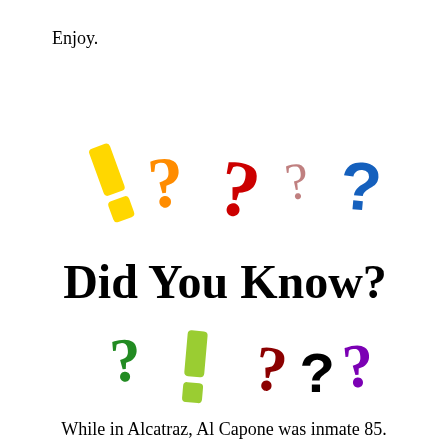Enjoy.
[Figure (illustration): Colorful question marks and exclamation marks in various styles and colors (yellow, orange, red, pink, blue, green, olive, dark red, black pixel-art, purple) arranged around large bold text 'Did You Know?']
While in Alcatraz, Al Capone was inmate 85.